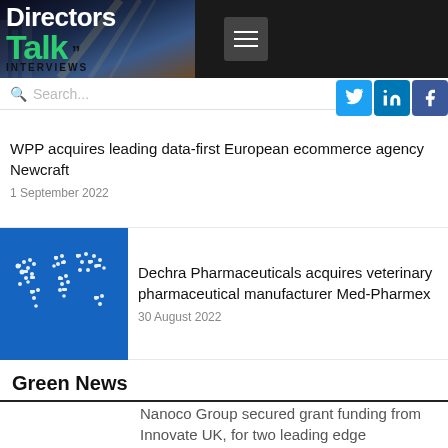Directors Talk Interviews
[Figure (screenshot): Directors Talk Interviews website header with logo and hamburger menu]
WPP acquires leading data-first European ecommerce agency Newcraft
1 September 2022
[Figure (illustration): Blue world map made of animal silhouettes - Dechra Pharmaceuticals logo image]
Dechra Pharmaceuticals acquires veterinary pharmaceutical manufacturer Med-Pharmex
30 August 2022
Green News
Nanoco Group secured grant funding from Innovate UK, for two leading edge development projects
31 August 2022